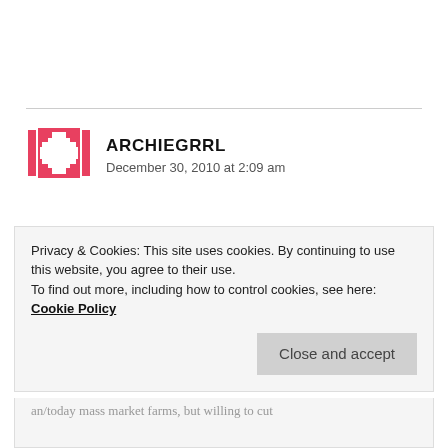[Figure (logo): Red pixel/grid style avatar icon for user archieGRRL]
ARCHIEGRRL
December 30, 2010 at 2:09 am
As a meat eater who holds no acrimony against non-red-meat eaters, pescatarians, ovo-lacto vegetarians, or vegans, I find that the *reason* for your vegetarianism will typically change the
Privacy & Cookies: This site uses cookies. By continuing to use this website, you agree to their use.
To find out more, including how to control cookies, see here: Cookie Policy
Close and accept
an/today mass market farms, but willing to cut